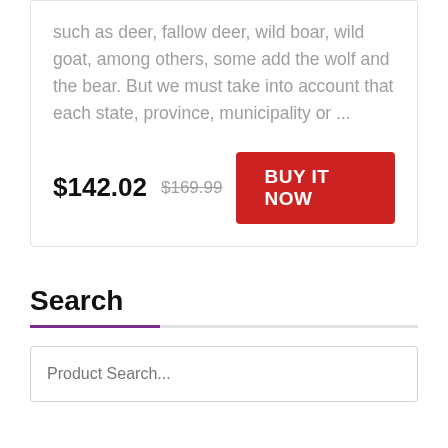such as deer, fallow deer, wild boar, wild goat, among others, some add the wolf and the bear. But we must take into account that each state, province, municipality or ...
$142.02 $169.99 BUY IT NOW
Search
Product Search...